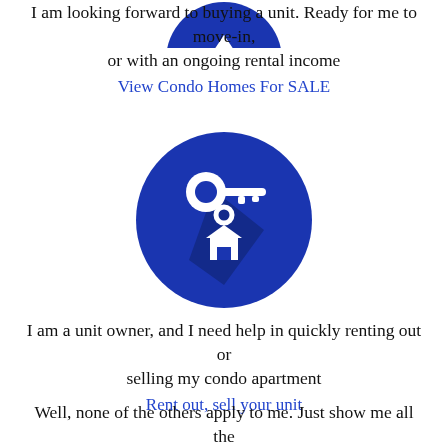[Figure (illustration): Blue circle icon partially visible at top of page, showing a house/real estate related icon]
I am looking forward to buying a unit. Ready for me to move-in, or with an ongoing rental income
View Condo Homes For SALE
[Figure (illustration): Blue circle icon with white keys and a house keychain, representing rental/property keys]
I am a unit owner, and I need help in quickly renting out or selling my condo apartment
Rent out, sell your unit
Well, none of the others apply to me. Just show me all the services you have
View all Real Estate Services